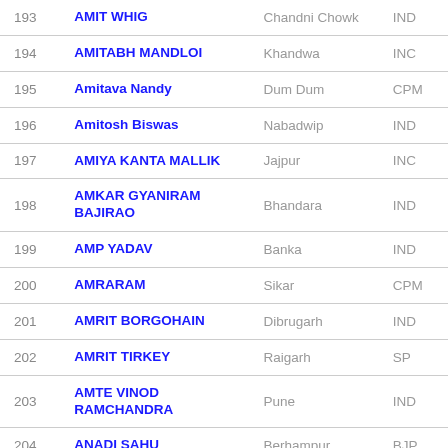| # | Name | Constituency | Party |
| --- | --- | --- | --- |
| 193 | AMIT WHIG | Chandni Chowk | IND |
| 194 | AMITABH MANDLOI | Khandwa | INC |
| 195 | Amitava Nandy | Dum Dum | CPM |
| 196 | Amitosh Biswas | Nabadwip | IND |
| 197 | AMIYA KANTA MALLIK | Jajpur | INC |
| 198 | AMKAR GYANIRAM BAJIRAO | Bhandara | IND |
| 199 | AMP YADAV | Banka | IND |
| 200 | AMRARAM | Sikar | CPM |
| 201 | AMRIT BORGOHAIN | Dibrugarh | IND |
| 202 | AMRIT TIRKEY | Raigarh | SP |
| 203 | AMTE VINOD RAMCHANDRA | Pune | IND |
| 204 | ANADI SAHU | Berhampur | BJP |
| 205 | ANAND BALIRAM | Yavatmal | BPM |